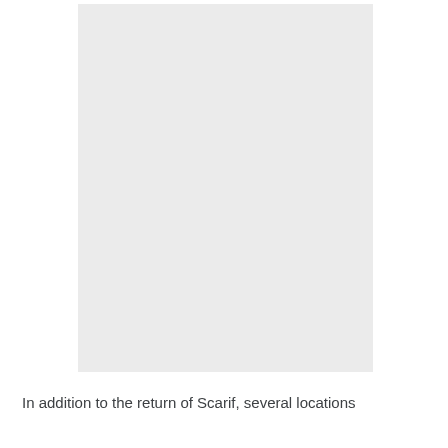[Figure (photo): A large light gray rectangular image placeholder occupying most of the upper portion of the page.]
In addition to the return of Scarif, several locations